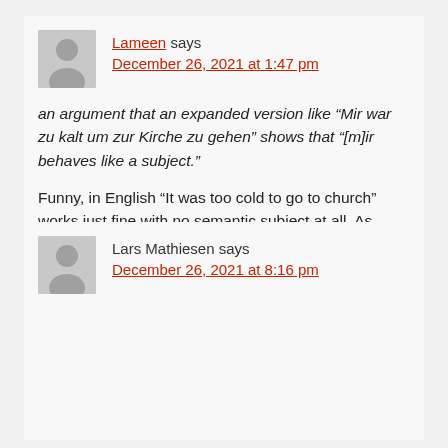Lameen says
December 26, 2021 at 1:47 pm
an argument that an expanded version like “Mir war zu kalt um zur Kirche zu gehen” shows that “[m]ir behaves like a subject.”
Funny, in English “It was too cold to go to church” works just fine with no semantic subject at all. As does “It was too cold for me to go to church”, with a non-subject controller.
Lars Mathiesen says
December 26, 2021 at 8:16 pm